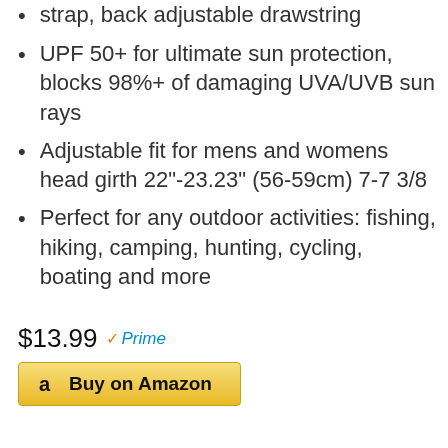strap, back adjustable drawstring
UPF 50+ for ultimate sun protection, blocks 98%+ of damaging UVA/UVB sun rays
Adjustable fit for mens and womens head girth 22"-23.23" (56-59cm) 7-7 3/8
Perfect for any outdoor activities: fishing, hiking, camping, hunting, cycling, boating and more
$13.99 Prime
Buy on Amazon